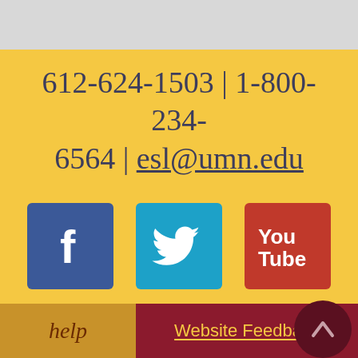612-624-1503 | 1-800-234-6564 | esl@umn.edu
[Figure (logo): Facebook logo icon - blue square with white f]
[Figure (logo): Twitter logo icon - cyan square with white bird]
[Figure (logo): YouTube logo icon - red square with You Tube text]
help
Website Feedback